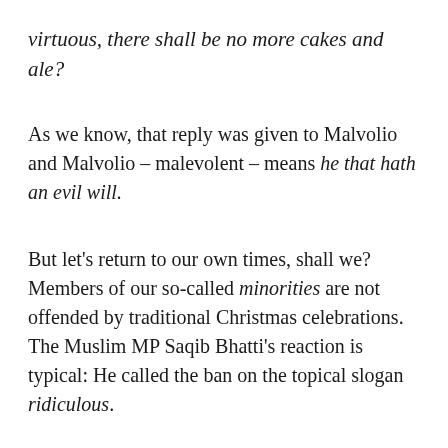virtuous, there shall be no more cakes and ale?
As we know, that reply was given to Malvolio and Malvolio – malevolent – means he that hath an evil will.
But let's return to our own times, shall we? Members of our so-called minorities are not offended by traditional Christmas celebrations. The Muslim MP Saqib Bhatti's reaction is typical: He called the ban on the topical slogan ridiculous.
You know, after all I have had second thoughts. Mention of Christmas is offensive to one minority: That of tetchy Wokeists and bloodless secularists who, like the Puritans before them, detest the traditional and heartfelt thoughts and actions of the British people, the ordinary